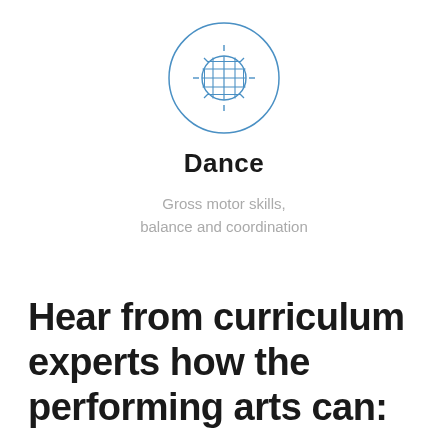[Figure (illustration): A circular icon outline containing a disco ball or globe icon drawn in blue, with small radiating lines suggesting shine or sparkle]
Dance
Gross motor skills, balance and coordination
Hear from curriculum experts how the performing arts can: